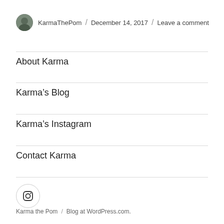KarmaThePom / December 14, 2017 / Leave a comment
About Karma
Karma's Blog
Karma's Instagram
Contact Karma
[Figure (logo): Instagram icon in a circle button]
Karma the Pom / Blog at WordPress.com.